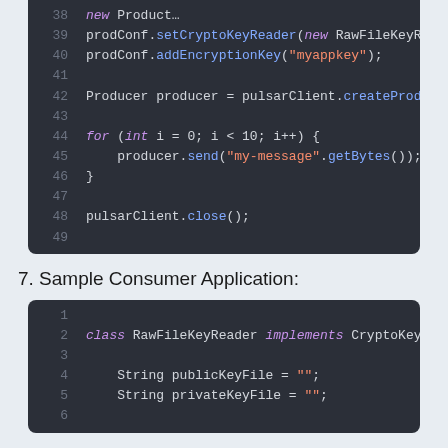[Figure (screenshot): Dark-themed code editor snippet showing Java code lines 38-49: prodConf.setCryptoKeyReader, prodConf.addEncryptionKey, Producer creation, for loop sending messages, pulsarClient.close()]
7. Sample Consumer Application:
[Figure (screenshot): Dark-themed code editor snippet showing Java code lines 1-6: class RawFileKeyReader implements CryptoKeyR..., String publicKeyFile = "", String privateKeyFile = ""]